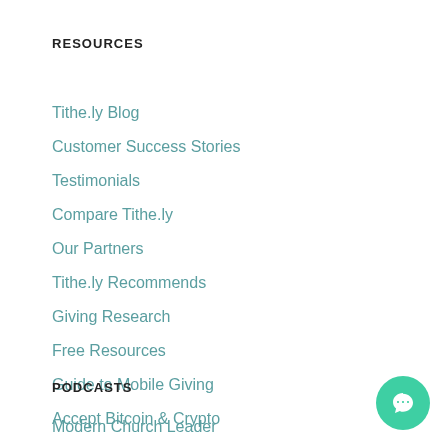RESOURCES
Tithe.ly Blog
Customer Success Stories
Testimonials
Compare Tithe.ly
Our Partners
Tithe.ly Recommends
Giving Research
Free Resources
Guide to Mobile Giving
Accept Bitcoin & Crypto
PODCASTS
Modern Church Leader